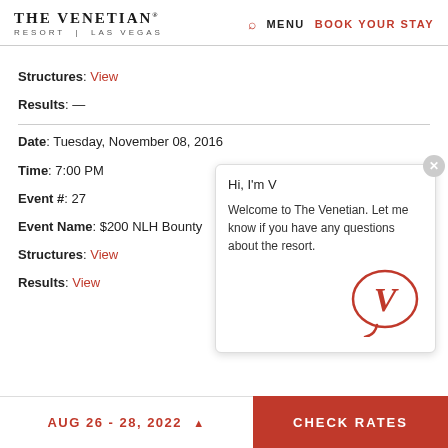THE VENETIAN RESORT | LAS VEGAS | MENU | BOOK YOUR STAY
Structures: View
Results: —
Date: Tuesday, November 08, 2016
Time: 7:00 PM
Event #: 27
Event Name: $200 NLH Bounty
Structures: View
Results: View
Hi, I'm V
Welcome to The Venetian. Let me know if you have any questions about the resort.
AUG 26 - 28, 2022 | CHECK RATES